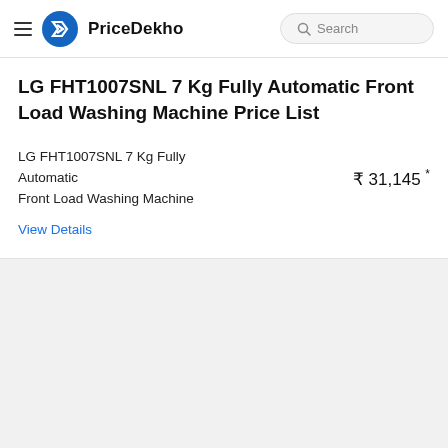PriceDekho
LG FHT1007SNL 7 Kg Fully Automatic Front Load Washing Machine Price List
LG FHT1007SNL 7 Kg Fully Automatic Front Load Washing Machine
₹ 31,145 *
View Details